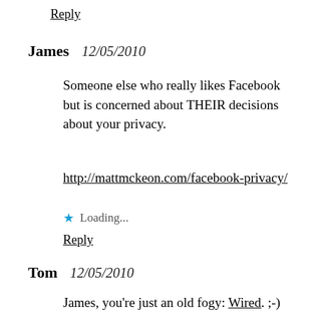Reply
James   12/05/2010
Someone else who really likes Facebook but is concerned about THEIR decisions about your privacy.
http://mattmckeon.com/facebook-privacy/
Loading...
Reply
Tom   12/05/2010
James, you're just an old fogy: Wired. ;-)
Loading